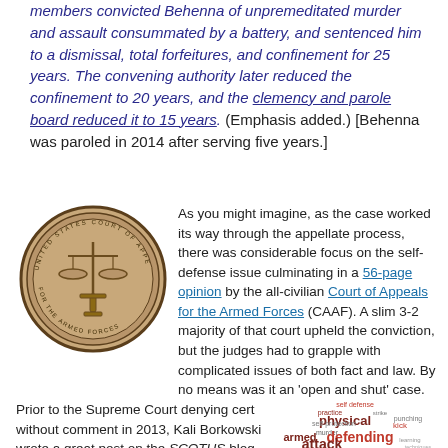members convicted Behenna of unpremeditated murder and assault consummated by a battery, and sentenced him to a dismissal, total forfeitures, and confinement for 25 years.  The convening authority later reduced the confinement to 20 years, and the clemency and parole board reduced it to 15 years.  (Emphasis added.)  [Behenna was paroled in 2014 after serving five years.]
[Figure (photo): Seal of the United States Court of Appeals for the Armed Forces]
As you might imagine, as the case worked its way through the appellate process, there was considerable focus on the self-defense issue culminating in a 56-page opinion by the all-civilian Court of Appeals for the Armed Forces (CAAF). A slim 3-2 majority of that court upheld the conviction, but the judges had to grapple with complicated issues of both fact and law.  By no means was it an 'open and shut' case.
Prior to the Supreme Court denying cert without comment in 2013, Kali Borkowski wrote a great post on the SCOTUS blog
[Figure (infographic): Word cloud with legal/self-defense terms including: self defense, practice, strike, physical, punching, self-protection, kick, murder, armed, defending, attack]